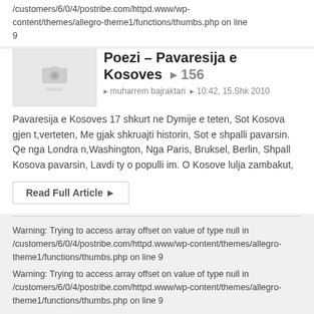/customers/6/0/4/postribe.com/httpd.www/wp-content/themes/allegro-theme1/functions/thumbs.php on line 9
[Figure (photo): Placeholder thumbnail image with camera icon]
Poezi – Pavaresija e Kosoves  156
muharrem bajraktari   10:42, 15.Shk 2010
Pavaresija e Kosoves 17 shkurt ne Dymije e teten, Sot Kosova gjen t,verteten, Me gjak shkruajti historin, Sot e shpalli pavarsin. Qe nga Londra n,Washington, Nga Paris, Bruksel, Berlin, Shpall Kosova pavarsin, Lavdi ty o populli im. O Kosove lulja zambakut,
Read Full Article ►
Warning: Trying to access array offset on value of type null in /customers/6/0/4/postribe.com/httpd.www/wp-content/themes/allegro-theme1/functions/thumbs.php on line 9
Warning: Trying to access array offset on value of type null in /customers/6/0/4/postribe.com/httpd.www/wp-content/themes/allegro-theme1/functions/thumbs.php on line 9